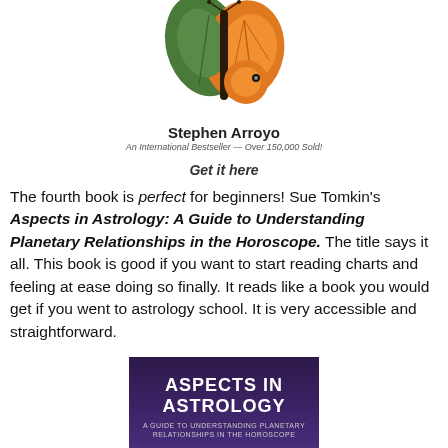[Figure (illustration): Partial butterfly illustration with orange and green wings, shown from the top portion only]
Stephen Arroyo
An International Bestseller — Over 150,000 Sold!
Get it here
The fourth book is perfect for beginners! Sue Tomkin's Aspects in Astrology: A Guide to Understanding Planetary Relationships in the Horoscope. The title says it all. This book is good if you want to start reading charts and feeling at ease doing so finally. It reads like a book you would get if you went to astrology school. It is very accessible and straightforward.
[Figure (photo): Book cover of Aspects in Astrology: A Guide to Understanding Planetary Relationships in the Horoscope, dark purple/indigo background with white text]